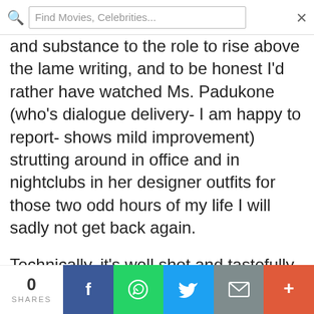Find Movies, Celebrities...
and substance to the role to rise above the lame writing, and to be honest I'd rather have watched Ms. Padukone (who's dialogue delivery- I am happy to report- shows mild improvement) strutting around in office and in nightclubs in her designer outfits for those two odd hours of my life I will sadly not get back again.
Technically, it's well shot and tastefully mounted with hummable music from Shankar Ehsaan Loy. That however I have to admit, is a line that would
0 SHARES | Share buttons: Facebook, WhatsApp, Twitter, Email, More